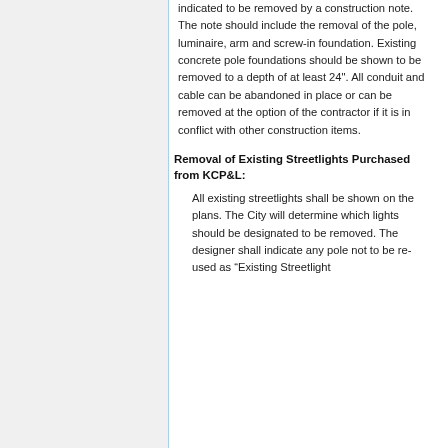indicated to be removed by a construction note. The note should include the removal of the pole, luminaire, arm and screw-in foundation. Existing concrete pole foundations should be shown to be removed to a depth of at least 24". All conduit and cable can be abandoned in place or can be removed at the option of the contractor if it is in conflict with other construction items.
Removal of Existing Streetlights Purchased from KCP&L:
All existing streetlights shall be shown on the plans. The City will determine which lights should be designated to be removed. The designer shall indicate any pole not to be re-used as "Existing Streetlight